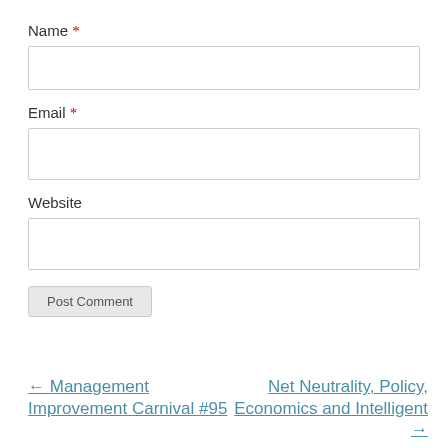Name *
Email *
Website
Post Comment
← Management Improvement Carnival #95
Net Neutrality, Policy, Economics and Intelligent →